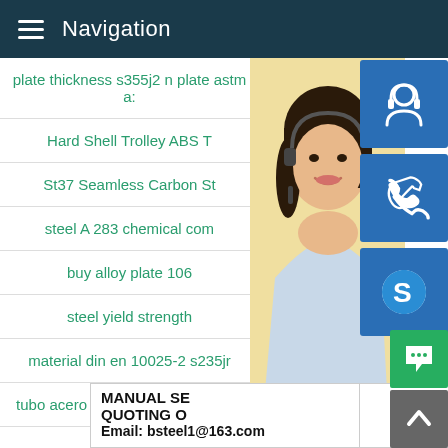Navigation
plate thickness s355j2 n plate astm a:
Hard Shell Trolley ABS T
St37 Seamless Carbon St
steel A 283 chemical com
buy alloy plate 106
steel yield strength
material din en 10025-2 s235jr
tubo acero 30 inch seamless steel
[Figure (photo): Customer service woman with headset, used as background for contact overlay panel]
MANUAL SE
QUOTING O
Email: bsteel1@163.com